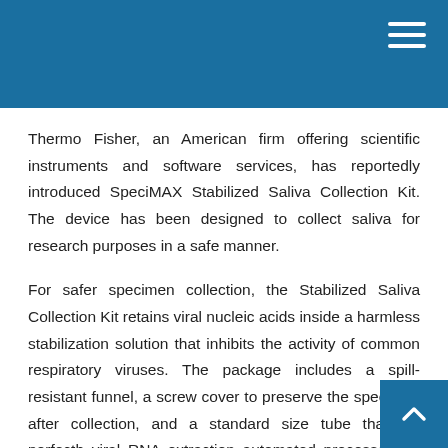Thermo Fisher, an American firm offering scientific instruments and software services, has reportedly introduced SpeciMAX Stabilized Saliva Collection Kit. The device has been designed to collect saliva for research purposes in a safe manner.
For safer specimen collection, the Stabilized Saliva Collection Kit retains viral nucleic acids inside a harmless stabilization solution that inhibits the activity of common respiratory viruses. The package includes a spill-resistant funnel, a screw cover to preserve the specimen after collection, and a standard size tube that fits perfectly viral RNA extraction automated processes for high